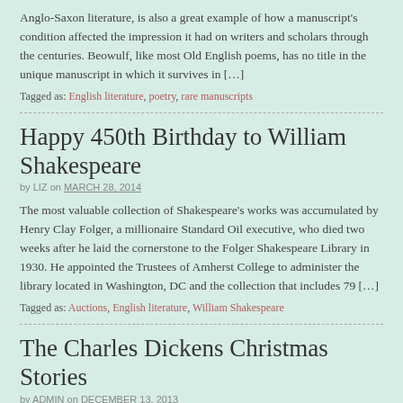Anglo-Saxon literature, is also a great example of how a manuscript's condition affected the impression it had on writers and scholars through the centuries. Beowulf, like most Old English poems, has no title in the unique manuscript in which it survives in […]
Tagged as: English literature, poetry, rare manuscripts
Happy 450th Birthday to William Shakespeare
by LIZ on MARCH 28, 2014
The most valuable collection of Shakespeare's works was accumulated by Henry Clay Folger, a millionaire Standard Oil executive, who died two weeks after he laid the cornerstone to the Folger Shakespeare Library in 1930. He appointed the Trustees of Amherst College to administer the library located in Washington, DC and the collection that includes 79 […]
Tagged as: Auctions, English literature, William Shakespeare
The Charles Dickens Christmas Stories
by ADMIN on DECEMBER 13, 2013